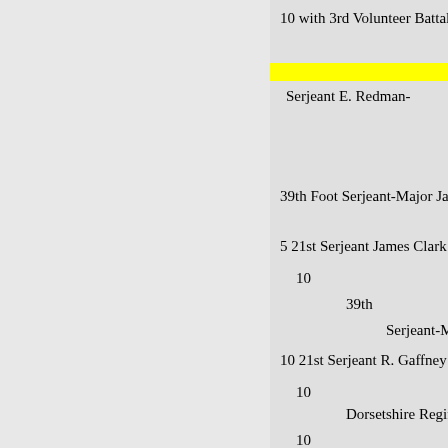10 with 3rd Volunteer Battalio
Serjeant E. Redman-
39th Foot Serjeant-Major Jame
5 21st Serjeant James Clark
10
39th
Serjeant-Maj
10 21st Serjeant R. Gaffney
10
Dorsetshire Regimen
10
Carried forward £.
1 475